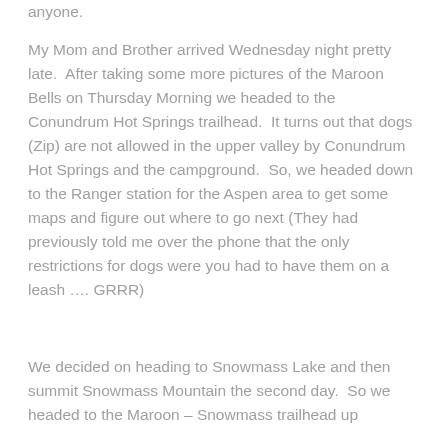anyone.
My Mom and Brother arrived Wednesday night pretty late.  After taking some more pictures of the Maroon Bells on Thursday Morning we headed to the Conundrum Hot Springs trailhead.  It turns out that dogs (Zip) are not allowed in the upper valley by Conundrum Hot Springs and the campground.  So, we headed down to the Ranger station for the Aspen area to get some maps and figure out where to go next (They had previously told me over the phone that the only restrictions for dogs were you had to have them on a leash …. GRRR)
We decided on heading to Snowmass Lake and then summit Snowmass Mountain the second day.  So we headed to the Maroon – Snowmass trailhead up